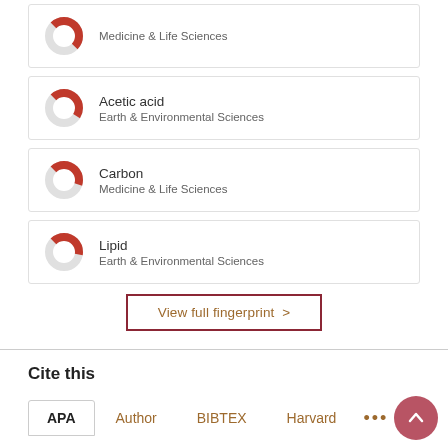[Figure (donut-chart): Partial donut chart for 'Medicine & Life Sciences' (top, partially cut off)]
[Figure (donut-chart): Partial donut chart for 'Acetic acid / Earth & Environmental Sciences']
Acetic acid
Earth & Environmental Sciences
[Figure (donut-chart): Partial donut chart for 'Carbon / Medicine & Life Sciences']
Carbon
Medicine & Life Sciences
[Figure (donut-chart): Partial donut chart for 'Lipid / Earth & Environmental Sciences']
Lipid
Earth & Environmental Sciences
View full fingerprint >
Cite this
APA   Author   BIBTEX   Harvard   ...